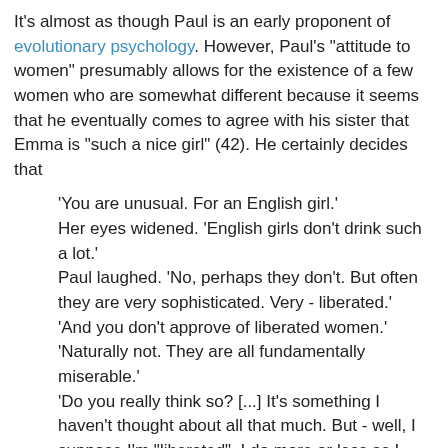It's almost as though Paul is an early proponent of evolutionary psychology. However, Paul's "attitude to women" presumably allows for the existence of a few women who are somewhat different because it seems that he eventually comes to agree with his sister that Emma is "such a nice girl" (42). He certainly decides that
'You are unusual. For an English girl.' Her eyes widened. 'English girls don't drink such a lot.' Paul laughed. 'No, perhaps they don't. But often they are very sophisticated. Very - liberated.' 'And you don't approve of liberated women.' 'Naturally not. They are all fundamentally miserable.' 'Do you really think so? [...] It's something I haven't thought about all that much. But - well, I suppose I'm "liberated". I do more or less as I like. Nobody organises my life. And I say what I think.' He studied her. There was something in his eyes she didn't quite understand. 'That's different,' he